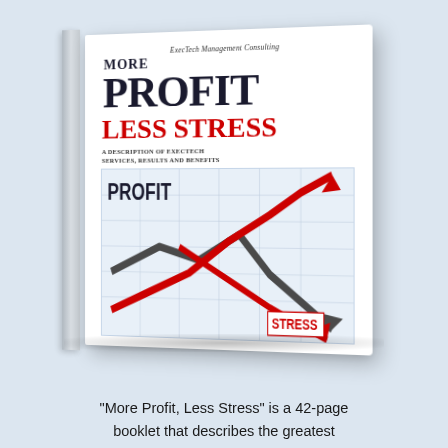[Figure (illustration): 3D rendered book cover for 'More Profit, Less Stress' by ExecTech Management Consulting. The book cover shows the title 'MORE PROFIT' in large dark text, 'LESS STRESS' in red text, subtitle 'A Description of ExecTech Services, Results and Benefits', and a graph with two arrows — one red going up (labeled PROFIT) and one red going down (labeled STRESS). The book is shown at a slight perspective angle with a visible spine.]
“More Profit, Less Stress” is a 42-page booklet that describes the greatest